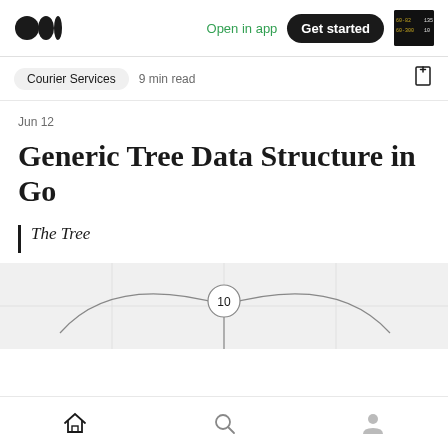Open in app   Get started
Courier Services  9 min read
Jun 12
Generic Tree Data Structure in Go
The Tree
[Figure (engineering-diagram): Tree data structure diagram showing a root node labeled '10' with branches extending downward to child nodes, partially visible]
Home  Search  Profile